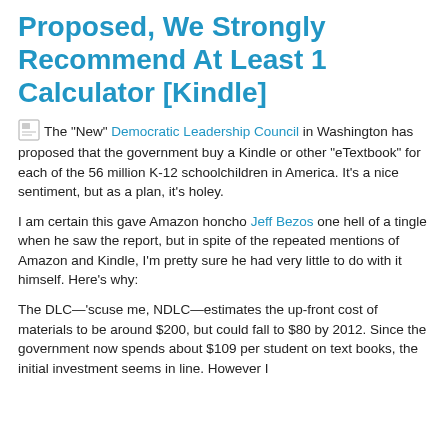Proposed, We Strongly Recommend At Least 1 Calculator [Kindle]
The "New" Democratic Leadership Council in Washington has proposed that the government buy a Kindle or other "eTextbook" for each of the 56 million K-12 schoolchildren in America. It's a nice sentiment, but as a plan, it's holey.
I am certain this gave Amazon honcho Jeff Bezos one hell of a tingle when he saw the report, but in spite of the repeated mentions of Amazon and Kindle, I'm pretty sure he had very little to do with it himself. Here's why:
The DLC—'scuse me, NDLC—estimates the up-front cost of materials to be around $200, but could fall to $80 by 2012. Since the government now spends about $109 per student on text books, the initial investment seems in line. However I